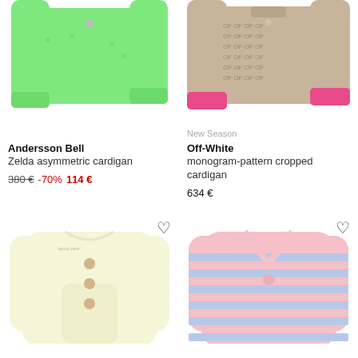[Figure (photo): Green fluffy asymmetric cardigan from Andersson Bell, cropped view showing arms and body]
[Figure (photo): Brown monogram-pattern cropped cardigan from Off-White with pink cuffs, cropped top view]
Andersson Bell
Zelda asymmetric cardigan
380 € -70% 114 €
New Season
Off-White
monogram-pattern cropped cardigan
634 €
[Figure (photo): Cream/ivory knit cardigan with buttons, crossover front, partial view from below]
[Figure (photo): Pink and blue striped knit cardigan with buttons, partial view from below]